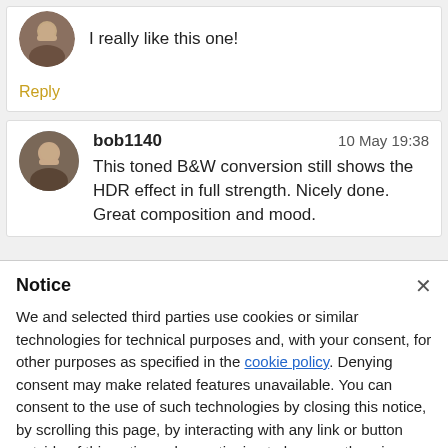[Figure (screenshot): User comment card (partial, top-cropped). Avatar photo of a man on the left. Comment text: 'I really like this one!' with a Reply link below.]
I really like this one!
Reply
[Figure (screenshot): User comment card. Avatar photo of a man. Username: bob1140. Timestamp: 10 May 19:38. Comment: 'This toned B&W conversion still shows the HDR effect in full strength. Nicely done. Great composition and mood.']
bob1140
10 May 19:38
This toned B&W conversion still shows the HDR effect in full strength. Nicely done. Great composition and mood.
Notice
We and selected third parties use cookies or similar technologies for technical purposes and, with your consent, for other purposes as specified in the cookie policy. Denying consent may make related features unavailable. You can consent to the use of such technologies by closing this notice, by scrolling this page, by interacting with any link or button outside of this notice or by continuing to browse otherwise.